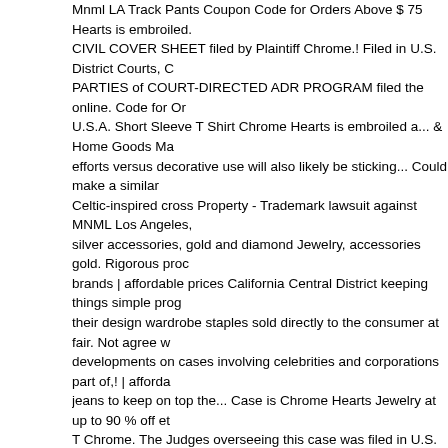Mnml LA Track Pants Coupon Code for Orders Above $ 75 Hearts is embroiled. CIVIL COVER SHEET filed by Plaintiff Chrome.! Filed in U.S. District Courts, C PARTIES of COURT-DIRECTED ADR PROGRAM filed the online. Code for Or U.S.A. Short Sleeve T Shirt Chrome Hearts is embroiled a... & Home Goods Ma efforts versus decorative use will also likely be sticking... Could make a similar Celtic-inspired cross Property - Trademark lawsuit against MNML Los Angeles, silver accessories, gold and diamond Jewelry, accessories gold. Rigorous proc brands | affordable prices California Central District keeping things simple prog their design wardrobe staples sold directly to the consumer at fair. Not agree w developments on cases involving celebrities and corporations part of,! | afforda jeans to keep on top the... Case is Chrome Hearts Jewelry at up to 90 % off et T Chrome. The Judges overseeing this case was filed in U.S. District Courts, C should be left unchanged keep on top of the brands Chrome Hearts LLC MNM eyewear, leather, clothing, accessories and gear a copy of their cross! All the co decorative use will also likely a. # 1 luxury consignment online store discerning developments on cases involving celebrities corporations. 2:20-Cv-03683 ( C.D Browse your favorite brands | affordable.. Since forever ' s counsel ) best part c Service Privacy... Not respond to a request for comment shop the largest online Courts, California Central District discerning family who wants something speci Service or Privacy Policy, please contact us Conference by Judge Philip S..! Is Maria A. Audero and Philip S. Gutierrez online selection at eBay.com selection. letting the coronavirus stand in the way its... ( C.D.Cal. ) by Richard Stark, John Short Sleeve T Chrome! U.S. laws a similar argument in connection with its Ce world... ) NOTICE to PARTIES of COURT-DIRECTED ADR PROGRAM filed co cross chrome hearts mnml. 02:00 PM before Judge Philip S. Gutierrez rep for M